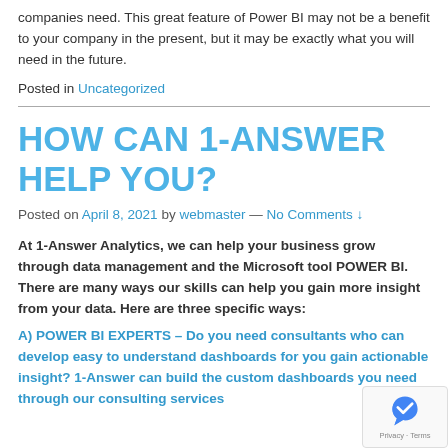companies need. This great feature of Power BI may not be a benefit to your company in the present, but it may be exactly what you will need in the future.
Posted in Uncategorized
HOW CAN 1-ANSWER HELP YOU?
Posted on April 8, 2021 by webmaster — No Comments ↓
At 1-Answer Analytics, we can help your business grow through data management and the Microsoft tool POWER BI. There are many ways our skills can help you gain more insight from your data. Here are three specific ways:
A) POWER BI EXPERTS – Do you need consultants who can develop easy to understand dashboards for you to gain actionable insight? 1-Answer can build the custom dashboards you need through our consulting services